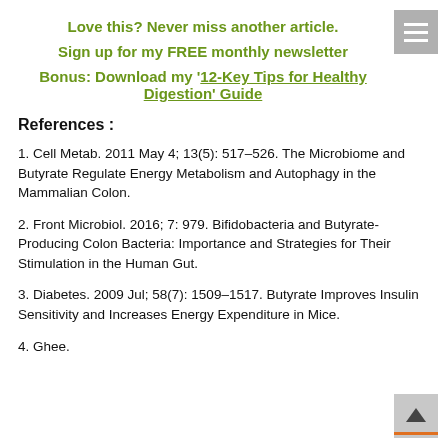Love this? Never miss another article.
Sign up for my FREE monthly newsletter
Bonus: Download my '12-Key Tips for Healthy Digestion' Guide
References :
1. Cell Metab. 2011 May 4; 13(5): 517–526. The Microbiome and Butyrate Regulate Energy Metabolism and Autophagy in the Mammalian Colon.
2. Front Microbiol. 2016; 7: 979. Bifidobacteria and Butyrate-Producing Colon Bacteria: Importance and Strategies for Their Stimulation in the Human Gut.
3. Diabetes. 2009 Jul; 58(7): 1509–1517. Butyrate Improves Insulin Sensitivity and Increases Energy Expenditure in Mice.
4. Ghee.